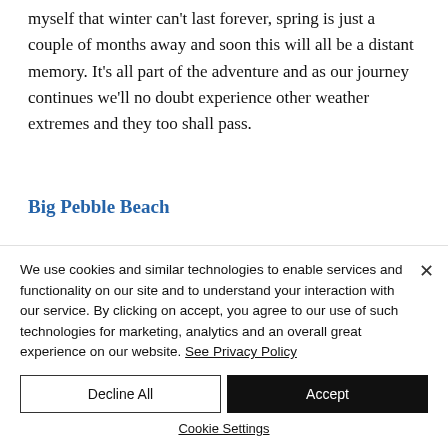myself that winter can't last forever, spring is just a couple of months away and soon this will all be a distant memory. It's all part of the adventure and as our journey continues we'll no doubt experience other weather extremes and they too shall pass.
Big Pebble Beach
We use cookies and similar technologies to enable services and functionality on our site and to understand your interaction with our service. By clicking on accept, you agree to our use of such technologies for marketing, analytics and an overall great experience on our website. See Privacy Policy
Decline All
Accept
Cookie Settings